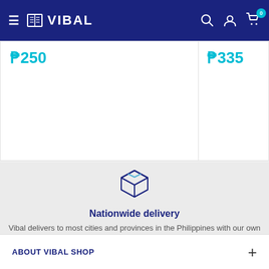VIBAL — navigation header with hamburger menu, logo, search, account, and cart icons
₱250
₱335
[Figure (illustration): A box/package delivery icon in dark navy blue outline style]
Nationwide delivery
Vibal delivers to most cities and provinces in the Philippines with our own delivery fleet.
ABOUT VIBAL SHOP